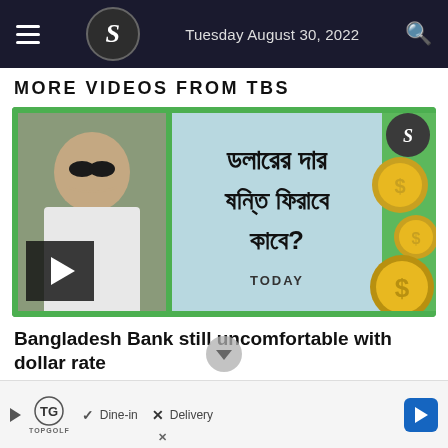Tuesday August 30, 2022
MORE VIDEOS FROM TBS
[Figure (screenshot): Video thumbnail showing a Bengali news segment about dollar exchange rate stability, with a man on left side, Bengali text reading dollar rate question, dollar coins on right, TBS logo and TODAY text, with a play button overlay]
Bangladesh Bank still uncomfortable with dollar rate
[Figure (infographic): Advertisement banner for TopGolf showing Dine-in with checkmark and Delivery with X mark, and a blue arrow button]